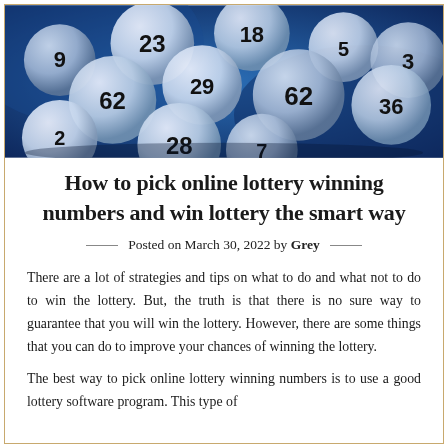[Figure (photo): Close-up photo of shiny white lottery balls with black numbers on a blue background]
How to pick online lottery winning numbers and win lottery the smart way
Posted on March 30, 2022 by Grey
There are a lot of strategies and tips on what to do and what not to do to win the lottery. But, the truth is that there is no sure way to guarantee that you will win the lottery. However, there are some things that you can do to improve your chances of winning the lottery.
The best way to pick online lottery winning numbers is to use a good lottery software program. This type of